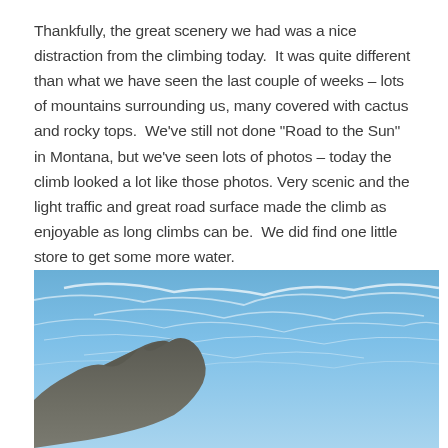Thankfully, the great scenery we had was a nice distraction from the climbing today.  It was quite different than what we have seen the last couple of weeks – lots of mountains surrounding us, many covered with cactus and rocky tops.  We've still not done “Road to the Sun” in Montana, but we've seen lots of photos – today the climb looked a lot like those photos.  Very scenic and the light traffic and great road surface made the climb as enjoyable as long climbs can be.  We did find one little store to get some more water.
[Figure (photo): Outdoor mountain landscape photograph showing a bright blue sky with wispy white clouds and a rocky mountain peak visible in the lower left corner.]